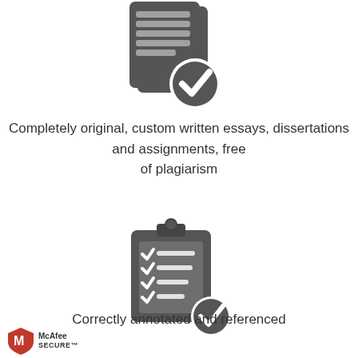[Figure (illustration): Dark gray icon of two overlapping document pages with horizontal lines representing text, and a checkmark badge on the bottom right corner]
Completely original, custom written essays, dissertations and assignments, free of plagiarism
[Figure (illustration): Dark gray icon of a clipboard with a checklist (checkmarks and lines) and a circular checkmark badge on the bottom right corner]
Correctly annotated and referenced
[Figure (logo): McAfee SECURE logo — red shield with white M and checkmark, with text McAfee SECURE]